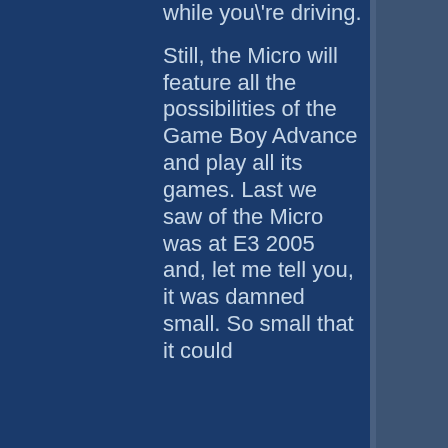while you're driving.

Still, the Micro will feature all the possibilities of the Game Boy Advance and play all its games. Last we saw of the Micro was at E3 2005 and, let me tell you, it was damned small. So small that it could